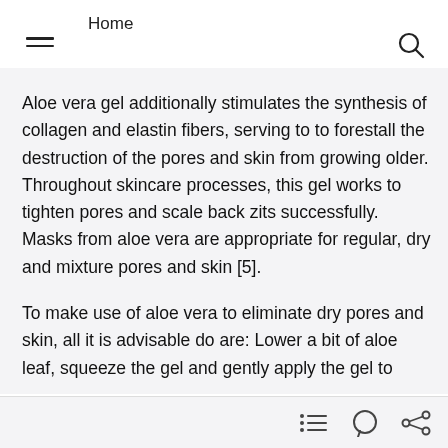Home
Aloe vera gel additionally stimulates the synthesis of collagen and elastin fibers, serving to to forestall the destruction of the pores and skin from growing older. Throughout skincare processes, this gel works to tighten pores and scale back zits successfully. Masks from aloe vera are appropriate for regular, dry and mixture pores and skin [5].
To make use of aloe vera to eliminate dry pores and skin, all it is advisable do are: Lower a bit of aloe leaf, squeeze the gel and gently apply the gel to